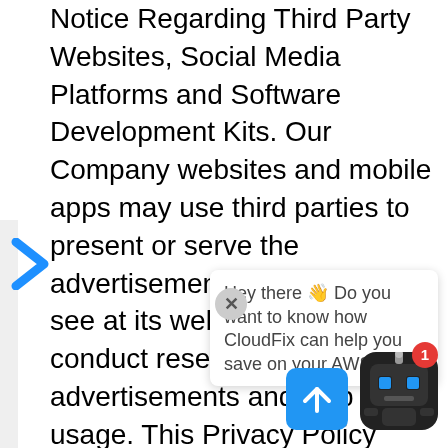Notice Regarding Third Party Websites, Social Media Platforms and Software Development Kits. Our Company websites and mobile apps may use third parties to present or serve the advertisements that you may see at its web pages and to conduct research about the advertisements and web usage. This Privacy Policy does not cover any use of information that such third parties may have collected from you or the methods used by the third parties to collect that information. We do not endorse, screen or approve and are not responsible for the privacy practices or content of such other websites or applications. Visiting these other websites or applications is at your own risk. Our Services may include publicly accessible blogs, for
[Figure (infographic): Chat popup overlay with robot icon, close button, upload/arrow button, and notification badge. Chat text reads: 'Hey there 👋 Do you want to know how CloudFix can help you save on your AWS bill?']